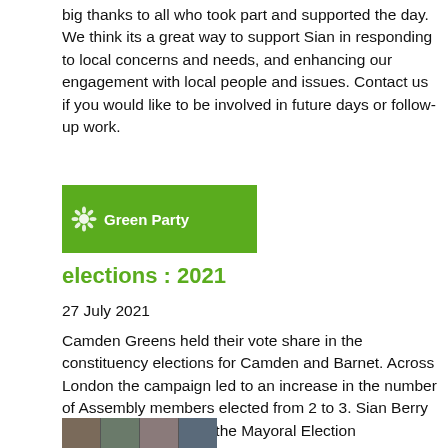big thanks to all who took part and supported the day. We think its a great way to support Sian in responding to local concerns and needs, and enhancing our engagement with local people and issues. Contact us if you would like to be involved in future days or follow-up work.
[Figure (logo): Green Party logo — green rectangle with white sunflower icon and 'Green Party' text in white]
elections : 2021
27 July 2021
Camden Greens held their vote share in the constituency elections for Camden and Barnet. Across London the campaign led to an increase in the number of Assembly members elected from 2 to 3. Sian Berry came a strong third in the Mayoral Election
[Figure (photo): Grid of small photos showing multiple people, appearing to be a video call screenshot]